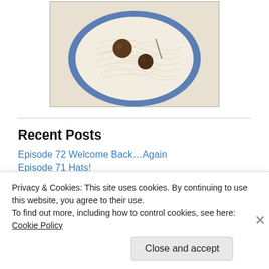[Figure (photo): Top-down view of a bowl of noodles with meatballs on a blue plate]
Recent Posts
Episode 72 Welcome Back…Again
Episode 71 Hats!
Episode 70 Three pairs of socks
Episode 69 FO Sho!
Episode 68 Beware the Ides of March
Privacy & Cookies: This site uses cookies. By continuing to use this website, you agree to their use.
To find out more, including how to control cookies, see here: Cookie Policy
Close and accept